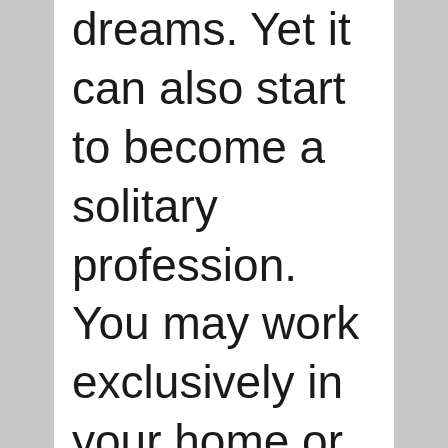dreams. Yet it can also start to become a solitary profession. You may work exclusively in your home or from your vehicle as you are always traveling from one available home listing to another